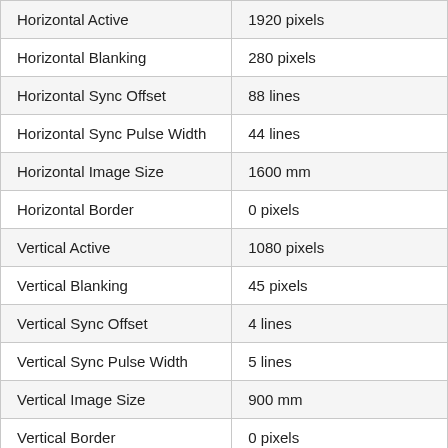| Horizontal Active | 1920 pixels |
| Horizontal Blanking | 280 pixels |
| Horizontal Sync Offset | 88 lines |
| Horizontal Sync Pulse Width | 44 lines |
| Horizontal Image Size | 1600 mm |
| Horizontal Border | 0 pixels |
| Vertical Active | 1080 pixels |
| Vertical Blanking | 45 pixels |
| Vertical Sync Offset | 4 lines |
| Vertical Sync Pulse Width | 5 lines |
| Vertical Image Size | 900 mm |
| Vertical Border | 0 pixels |